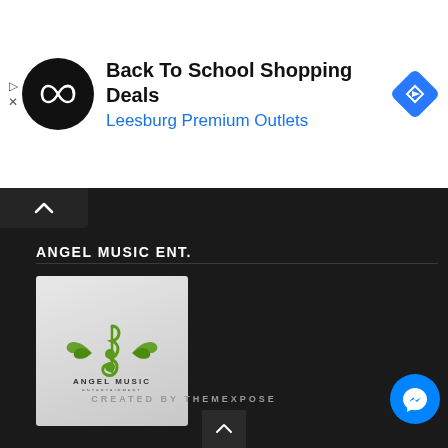[Figure (screenshot): Ad banner with black circle logo containing infinity-like symbol, text 'Back To School Shopping Deals' and 'Leesburg Premium Outlets' in blue, and a blue diamond navigation icon on the right]
Back To School Shopping Deals
Leesburg Premium Outlets
ANGEL MUSIC ENT.
[Figure (logo): Angel Music Entertainment logo: green treble clef with angel wings above text 'ANGEL MUSIC' and 'ENTERTAINMENT' on light gray background]
CREATED BY THEMEXPOSE